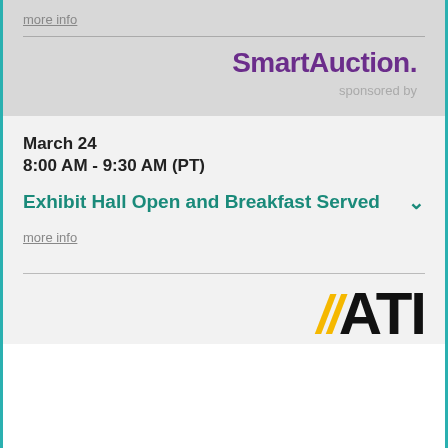more info
[Figure (logo): SmartAuction. logo in bold purple text]
sponsored by
March 24
8:00 AM - 9:30 AM (PT)
Exhibit Hall Open and Breakfast Served
more info
[Figure (logo): ATI logo with yellow double slashes and bold black ATI text]